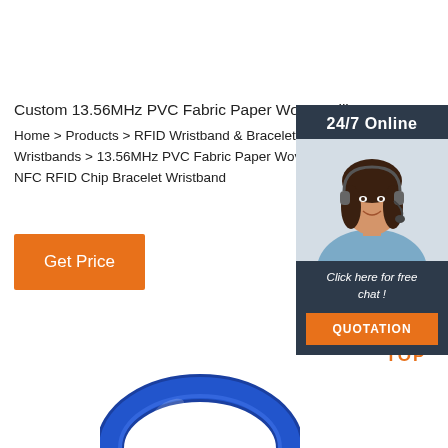Custom 13.56MHz PVC Fabric Paper Woven Silicon
Home > Products > RFID Wristband & Bracelet > RFID Wristbands > 13.56MHz PVC Fabric Paper Woven NFC RFID Chip Bracelet Wristband
Get Price
[Figure (photo): Customer service representative woman with headset smiling, overlaid on dark blue widget panel with '24/7 Online' header, 'Click here for free chat!' text, and orange QUOTATION button]
[Figure (illustration): Orange dot triangle 'TOP' icon for back-to-top navigation]
[Figure (photo): Partial view of blue silicone wristband at bottom of page]